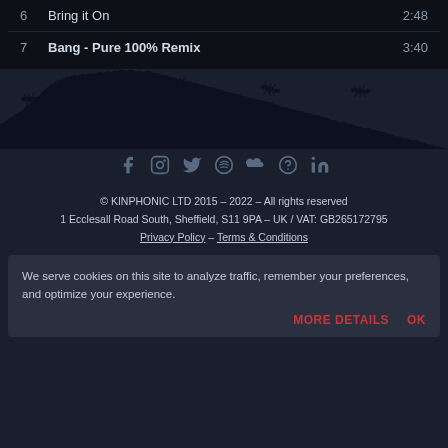6   Bring it On   2:48
7   Bang - Pure 100% Remix   3:40
[Figure (illustration): Silhouette of ants marching across a dark background, decorative website footer illustration]
© KINPHONIC LTD 2015 – 2022 – All rights reserved
1 Ecclesall Road South, Sheffield, S11 9PA – UK / VAT: GB265172795
Privacy Policy – Terms & Conditions
We serve cookies on this site to analyze traffic, remember your preferences, and optimize your experience.
MORE DETAILS   OK